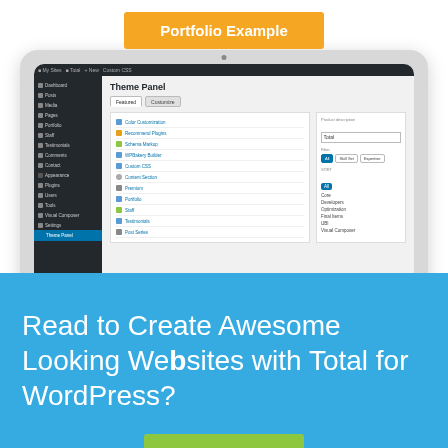Portfolio Example
[Figure (screenshot): WordPress admin dashboard screenshot showing a laptop with the Theme Panel open, displaying a list of features including Color Customization, Recommend Plugins, Schema Markup, WPBakery Builder, Custom CSS, Content Section, Premium, Portfolio, Staff, Testimonials, Post Series. The right panel shows a filter interface with All, Skill Set, Expertise options and sort categories: Core, Developers, Optimization, Final Items, UBI, Visual Composer.]
Read to Create Awesome Looking Websites with Total for WordPress?